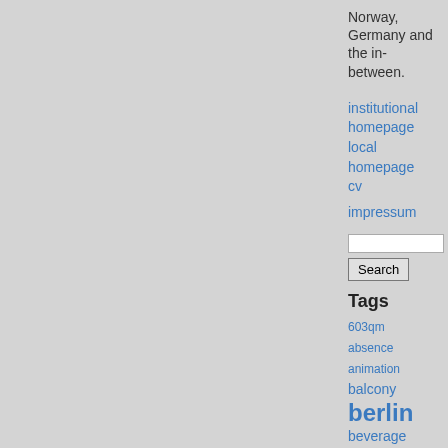Norway, Germany and the in-between.
institutional homepage
local homepage
cv
impressum
Tags
603qm
absence
animation
balcony
berlin
beverage
blog
body
browser
Since I am writing about the production of space right now, and since I neglect abstract or representational space in my dissertation a bit, I want to offer at least to you, dear readers, a small